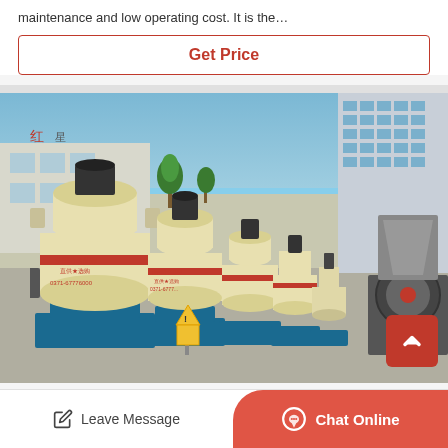maintenance and low operating cost. It is the…
Get Price
[Figure (photo): Row of yellow industrial Raymond mill grinding machines on blue bases, parked in a factory yard. Buildings and trees visible in background. A red scroll-to-top button is overlaid at bottom right.]
Leave Message
Chat Online